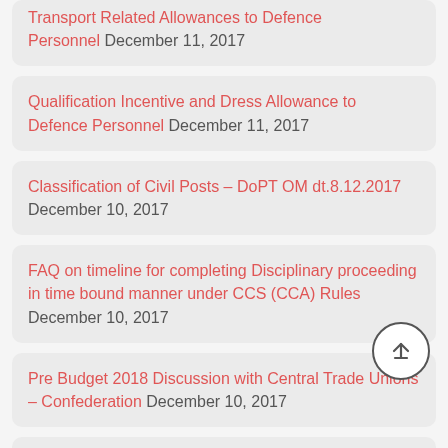Transport Related Allowances to Defence Personnel December 11, 2017
Qualification Incentive and Dress Allowance to Defence Personnel December 11, 2017
Classification of Civil Posts – DoPT OM dt.8.12.2017 December 10, 2017
FAQ on timeline for completing Disciplinary proceeding in time bound manner under CCS (CCA) Rules December 10, 2017
Pre Budget 2018 Discussion with Central Trade Unions – Confederation December 10, 2017
7th CPC Language Allowances and Language Award to Defence Personnel December 9, 2017